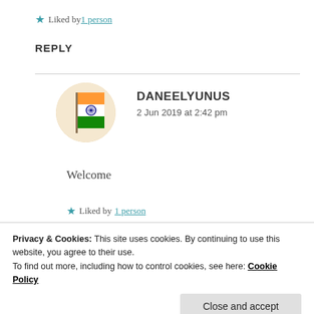★ Liked by 1 person
REPLY
[Figure (illustration): Circular avatar showing Indian flag with saffron, white, and green horizontal stripes and Ashoka Chakra, on a warm beige circular background]
DANEELYUNUS
2 Jun 2019 at 2:42 pm
Welcome
★ Liked by 1 person
Privacy & Cookies: This site uses cookies. By continuing to use this website, you agree to their use.
To find out more, including how to control cookies, see here: Cookie Policy
Close and accept
5-star reviews   DAY ONE JOURNAL